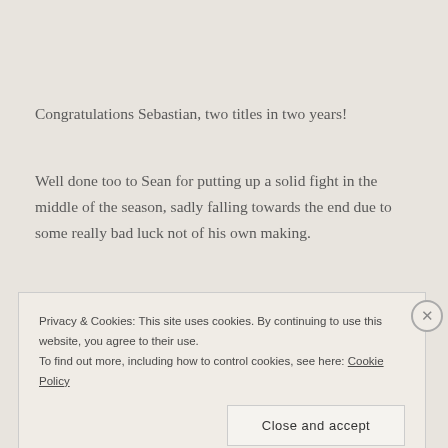Congratulations Sebastian, two titles in two years!
Well done too to Sean for putting up a solid fight in the middle of the season, sadly falling towards the end due to some really bad luck not of his own making.
Privacy & Cookies: This site uses cookies. By continuing to use this website, you agree to their use.
To find out more, including how to control cookies, see here: Cookie Policy
Close and accept